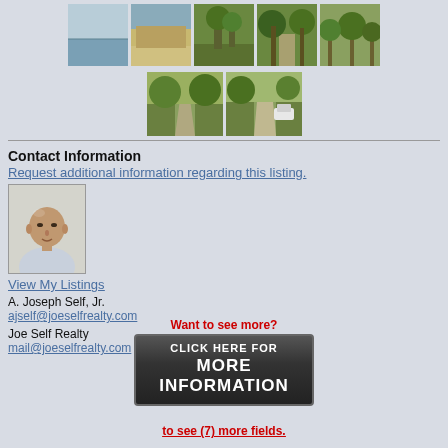[Figure (photo): Row of 5 real estate property thumbnail photos showing water, beach, trees, and wooded paths]
[Figure (photo): Row of 2 real estate property thumbnail photos showing a road through trees]
Contact Information
Request additional information regarding this listing.
[Figure (photo): Headshot photo of agent A. Joseph Self Jr., bald man in light blue shirt]
View My Listings
A. Joseph Self, Jr.
ajself@joeselfrealty.com
Joe Self Realty
mail@joeselfrealty.com
Want to see more?
[Figure (infographic): Dark button graphic reading CLICK HERE FOR MORE INFORMATION]
to see (7) more fields.